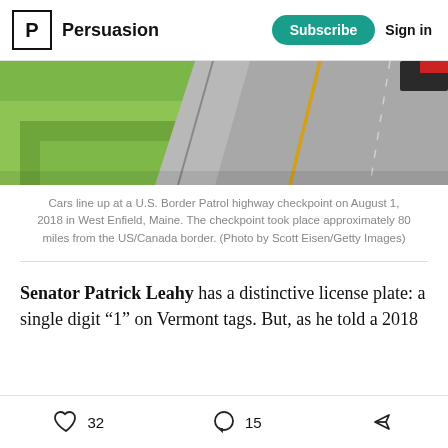Persuasion | Subscribe | Sign in
[Figure (photo): Aerial/overhead view of a U.S. road/highway with grass shoulder and yellow center line, showing a Border Patrol checkpoint area.]
Cars line up at a U.S. Border Patrol highway checkpoint on August 1, 2018 in West Enfield, Maine. The checkpoint took place approximately 80 miles from the US/Canada border. (Photo by Scott Eisen/Getty Images)
Senator Patrick Leahy has a distinctive license plate: a single digit “1” on Vermont tags. But, as he told a 2018
32 likes  15 comments  Share